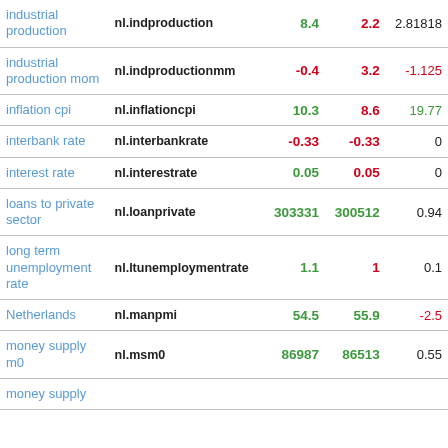| Name | Code | Value | Previous | Change |
| --- | --- | --- | --- | --- |
| industrial production | nl.indproduction | 8.4 | 2.2 | 2.81818 |
| industrial production mom | nl.indproductionmm | -0.4 | 3.2 | -1.125 |
| inflation cpi | nl.inflationcpi | 10.3 | 8.6 | 19.77 |
| interbank rate | nl.interbankrate | -0.33 | -0.33 | 0 |
| interest rate | nl.interestrate | 0.05 | 0.05 | 0 |
| loans to private sector | nl.loanprivate | 303331 | 300512 | 0.94 |
| long term unemployment rate | nl.ltunemploymentrate | 1.1 | 1 | 0.1 |
| Netherlands | nl.manpmi | 54.5 | 55.9 | -2.5 |
| money supply m0 | nl.msm0 | 86987 | 86513 | 0.55 |
| money supply |  |  |  |  |